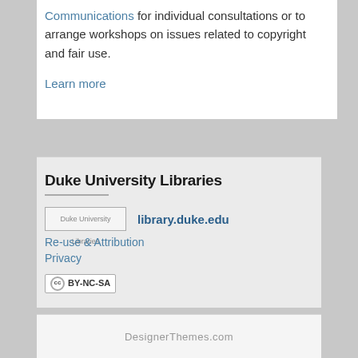Communications for individual consultations or to arrange workshops on issues related to copyright and fair use.
Learn more
Duke University Libraries
library.duke.edu
Re-use & Attribution
Privacy
[Figure (logo): Creative Commons BY-NC-SA license badge]
DesignerThemes.com